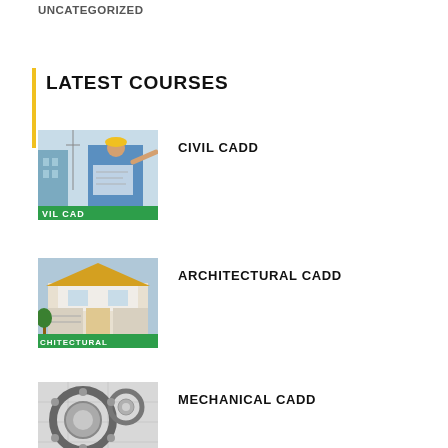UNCATEGORIZED
LATEST COURSES
[Figure (photo): Person in blue shirt and yellow hard hat pointing at construction plans, with text 'VIL CAD' on green banner at bottom]
CIVIL CADD
[Figure (photo): Modern house exterior with yellow and white architecture, text 'CHITECTURAL' on green banner at bottom]
ARCHITECTURAL CADD
[Figure (photo): Mechanical components including bearings and gears on technical drawing, text 'CHANICAL' on green banner at bottom]
MECHANICAL CADD